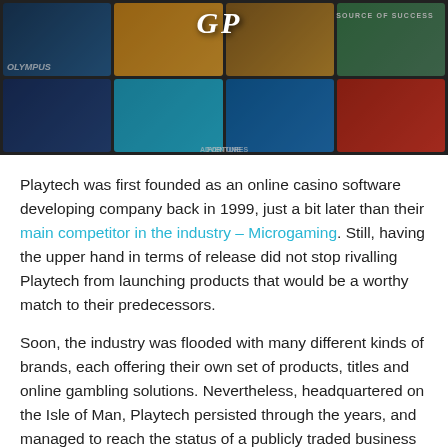[Figure (screenshot): Banner image showing a grid of online casino game thumbnails with a logo overlay reading stylized letters and 'SOURCE OF SUCCESS' tagline on a dark background.]
Playtech was first founded as an online casino software developing company back in 1999, just a bit later than their main competitor in the industry – Microgaming. Still, having the upper hand in terms of release did not stop rivalling Playtech from launching products that would be a worthy match to their predecessors.
Soon, the industry was flooded with many different kinds of brands, each offering their own set of products, titles and online gambling solutions. Nevertheless, headquartered on the Isle of Man, Playtech persisted through the years, and managed to reach the status of a publicly traded business in less than a decade thence.